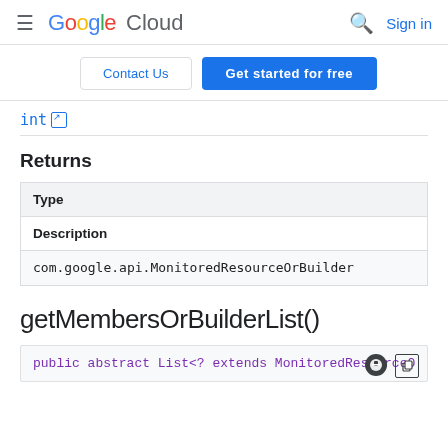Google Cloud — Search — Sign in
Contact Us | Get started for free
int ↗
Returns
| Type |
| --- |
| Description |
| com.google.api.MonitoredResourceOrBuilder |
getMembersOrBuilderList()
public abstract List<? extends MonitoredResourceO